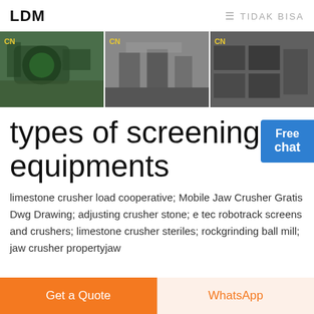LDM  ≡ TIDAK BISA
[Figure (photo): Three industrial machinery photos side by side, each with a yellow CN label in the top left corner. Left: green industrial equipment outdoors. Middle: concrete industrial structure. Right: stacked industrial equipment.]
types of screening equipments
limestone crusher load cooperative; Mobile Jaw Crusher Gratis Dwg Drawing; adjusting crusher stone; e tec robotrack screens and crushers; limestone crusher steriles; rockgrinding ball mill; jaw crusher propertyjaw
Get a Quote  WhatsApp